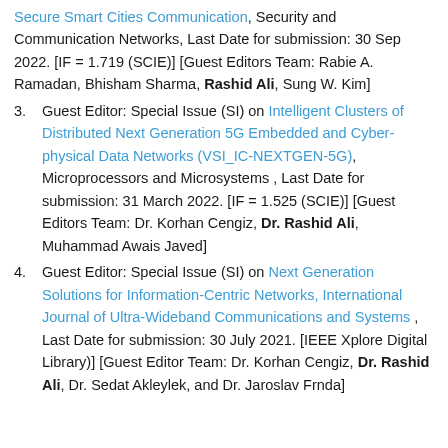Secure Smart Cities Communication, Security and Communication Networks, Last Date for submission: 30 Sep 2022. [IF = 1.719 (SCIE)] [Guest Editors Team: Rabie A. Ramadan, Bhisham Sharma, Rashid Ali, Sung W. Kim]
3. Guest Editor: Special Issue (SI) on Intelligent Clusters of Distributed Next Generation 5G Embedded and Cyber-physical Data Networks (VSI_IC-NEXTGEN-5G), Microprocessors and Microsystems , Last Date for submission: 31 March 2022. [IF = 1.525 (SCIE)] [Guest Editors Team: Dr. Korhan Cengiz, Dr. Rashid Ali, Muhammad Awais Javed]
4. Guest Editor: Special Issue (SI) on Next Generation Solutions for Information-Centric Networks, International Journal of Ultra-Wideband Communications and Systems , Last Date for submission: 30 July 2021. [IEEE Xplore Digital Library)] [Guest Editor Team: Dr. Korhan Cengiz, Dr. Rashid Ali, Dr. Sedat Akleylek, and Dr. Jaroslav Frnda]